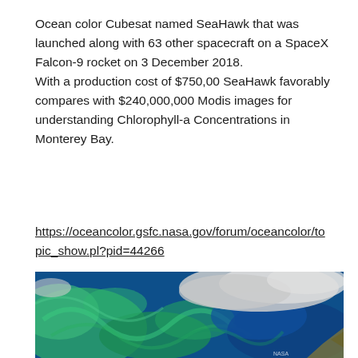Ocean color Cubesat named SeaHawk that was launched along with 63 other spacecraft on a SpaceX Falcon-9 rocket on 3 December 2018. With a production cost of $750,00 SeaHawk favorably compares with $240,000,000 Modis images for understanding Chlorophyll-a Concentrations in Monterey Bay.
https://oceancolor.gsfc.nasa.gov/forum/oceancolor/topic_show.pl?pid=44266
[Figure (photo): Satellite ocean color image showing swirling green and blue chlorophyll patterns in the ocean, with some cloud cover visible, likely over Monterey Bay area.]